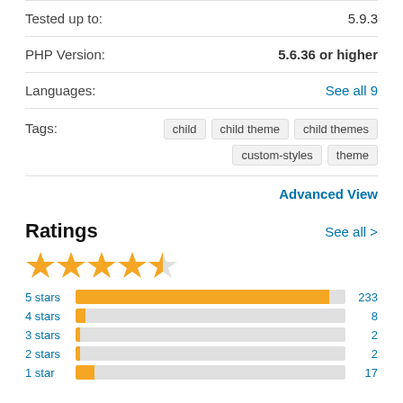Tested up to: 5.9.3
PHP Version: 5.6.36 or higher
Languages: See all 9
Tags: child  child theme  child themes  custom-styles  theme
Advanced View
Ratings
[Figure (bar-chart): Ratings breakdown]